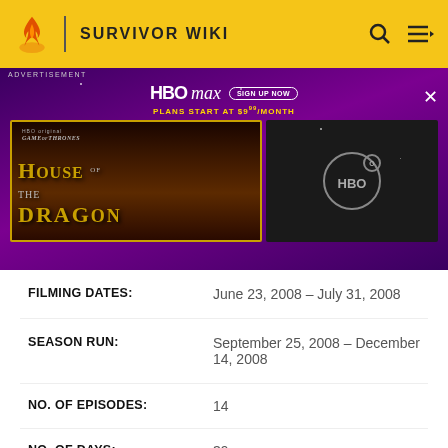SURVIVOR WIKI
[Figure (screenshot): HBO Max advertisement banner featuring House of the Dragon promotional image on the left and HBO logo on dark background on the right. Text reads: ADVERTISEMENT, HBO max, SIGN UP NOW, PLANS START AT $9.99/MONTH]
| Field | Value |
| --- | --- |
| FILMING DATES: | June 23, 2008 - July 31, 2008 |
| SEASON RUN: | September 25, 2008 - December 14, 2008 |
| NO. OF EPISODES: | 14 |
| NO. OF DAYS: | 39 |
| NO. OF CASTAWAYS: | 18 |